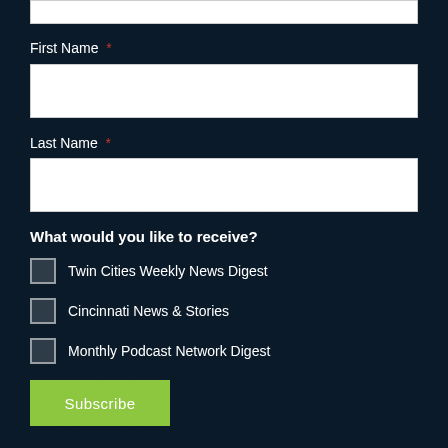First Name *
Last Name *
What would you like to receive?
Twin Cities Weekly News Digest
Cincinnati News & Stories
Monthly Podcast Network Digest
Subscribe